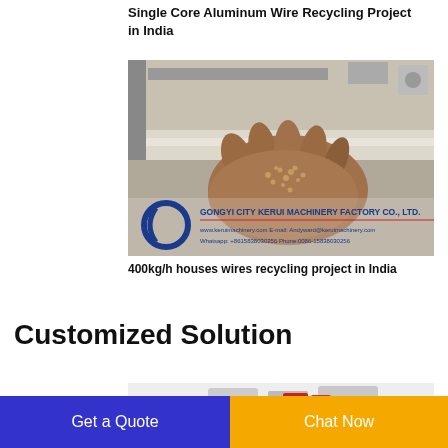Single Core Aluminum Wire Recycling Project in India
[Figure (photo): Photo of a hand holding small copper granules from recycled aluminum wire, with Gongyi City Kerui Machinery Factory Co., Ltd. watermark overlay showing website and contact details.]
400kg/h houses wires recycling project in India
Customized Solution
[Figure (photo): Partial view of machinery equipment for customized solution.]
Get a Quote
Chat Now